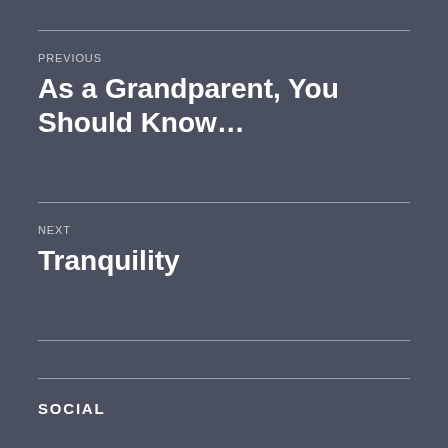PREVIOUS
As a Grandparent, You Should Know…
NEXT
Tranquility
SOCIAL